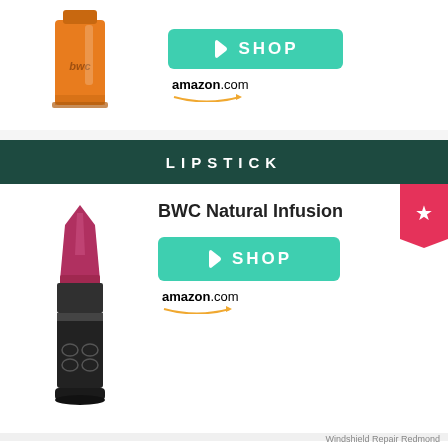[Figure (photo): BWC orange nail polish bottle with 'bwc' text]
[Figure (screenshot): SHOP button (teal) with price tag icon, and amazon.com logo below]
LIPSTICK
[Figure (photo): BWC Natural Infusion lipstick in dark magenta/purple color with decorative black case]
BWC Natural Infusion
[Figure (screenshot): SHOP button (teal) with price tag icon, and amazon.com logo below]
BUY NAMZARIC CANADA
Windshield Repair Redmond